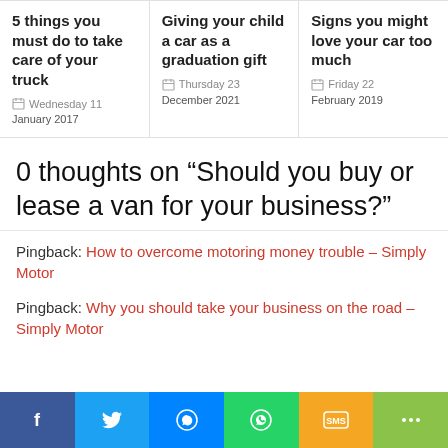5 things you must do to take care of your truck
Wednesday 11
January 2017
Giving your child a car as a graduation gift
Thursday 23
December 2021
Signs you might love your car too much
Friday 22
February 2019
0 thoughts on “Should you buy or lease a van for your business?”
Pingback: How to overcome motoring money trouble – Simply Motor
Pingback: Why you should take your business on the road – Simply Motor